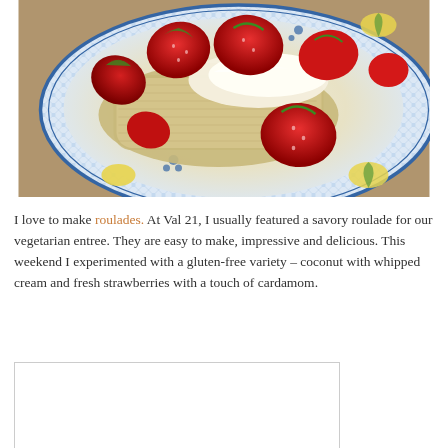[Figure (photo): A decorative blue-and-white plate with a yellow lemon motif containing a serving of dessert: coconut roulade with whipped cream and fresh sliced strawberries, photographed from above.]
I love to make roulades. At Val 21, I usually featured a savory roulade for our vegetarian entree. They are easy to make, impressive and delicious. This weekend I experimented with a gluten-free variety – coconut with whipped cream and fresh strawberries with a touch of cardamom.